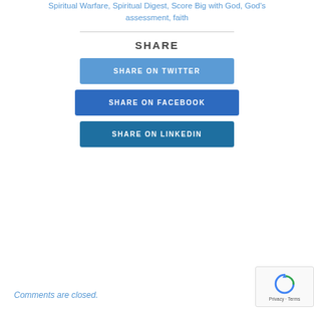Spiritual Warfare, Spiritual Digest, Score Big with God, God's assessment, faith
SHARE
SHARE ON TWITTER
SHARE ON FACEBOOK
SHARE ON LINKEDIN
Comments are closed.